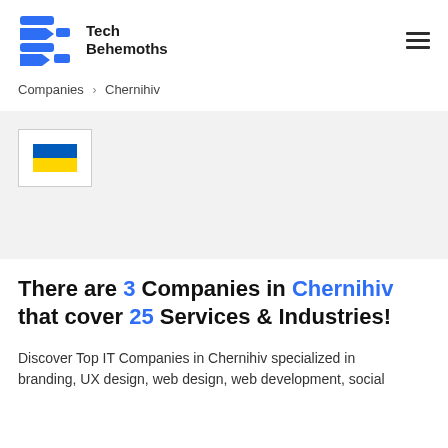Tech Behemoths
Companies > Chernihiv
[Figure (illustration): Ukraine flag icon inside a white bordered box on a light grey banner background]
There are 3 Companies in Chernihiv that cover 25 Services & Industries!
Discover Top IT Companies in Chernihiv specialized in branding, UX design, web design, web development, social